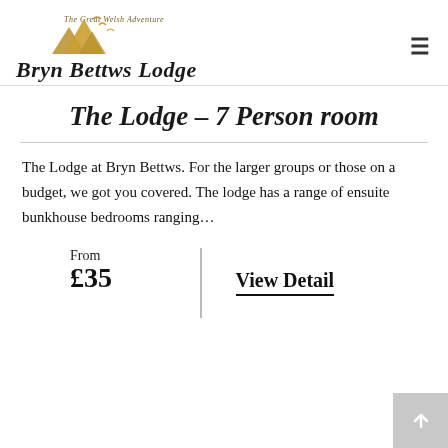Bryn Bettws Lodge – The Great Welsh Adventure
The Lodge – 7 Person room
The Lodge at Bryn Bettws. For the larger groups or those on a budget, we got you covered. The lodge has a range of ensuite bunkhouse bedrooms ranging...
From £35
View Detail